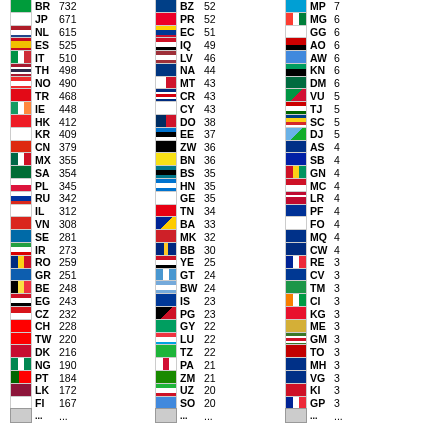| Flag | Code | Count |
| --- | --- | --- |
| BR | 732 |
| JP | 671 |
| NL | 615 |
| ES | 525 |
| IT | 510 |
| TH | 498 |
| NO | 490 |
| TR | 468 |
| IE | 448 |
| HK | 412 |
| KR | 409 |
| CN | 379 |
| MX | 355 |
| SA | 354 |
| PL | 345 |
| RU | 342 |
| IL | 312 |
| VN | 308 |
| SE | 281 |
| IR | 273 |
| RO | 259 |
| GR | 251 |
| BE | 248 |
| EG | 243 |
| CZ | 232 |
| CH | 228 |
| TW | 220 |
| DK | 216 |
| NG | 190 |
| PT | 184 |
| LK | 172 |
| FI | 167 |
| BZ | 52 |
| PR | 52 |
| EC | 51 |
| IQ | 49 |
| LV | 46 |
| NA | 44 |
| MT | 43 |
| CR | 43 |
| CY | 43 |
| DO | 38 |
| EE | 37 |
| ZW | 36 |
| BN | 36 |
| BS | 35 |
| HN | 35 |
| GE | 35 |
| TN | 34 |
| BA | 33 |
| MK | 32 |
| BB | 30 |
| YE | 25 |
| GT | 24 |
| BW | 24 |
| IS | 23 |
| PG | 23 |
| GY | 22 |
| LU | 22 |
| TZ | 22 |
| PA | 21 |
| ZM | 21 |
| UZ | 20 |
| SO | 20 |
| MP | 7 |
| MG | 6 |
| GG | 6 |
| AO | 6 |
| AW | 6 |
| KN | 6 |
| DM | 6 |
| VU | 5 |
| TJ | 5 |
| SC | 5 |
| DJ | 5 |
| AS | 4 |
| SB | 4 |
| GN | 4 |
| MC | 4 |
| LR | 4 |
| PF | 4 |
| FO | 4 |
| MQ | 4 |
| CW | 4 |
| RE | 3 |
| CV | 3 |
| TM | 3 |
| CI | 3 |
| KG | 3 |
| ME | 3 |
| GM | 3 |
| TO | 3 |
| MH | 3 |
| VG | 3 |
| KI | 3 |
| GP | 3 |